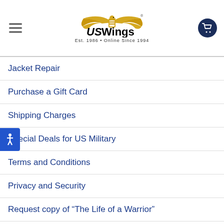US Wings — Est. 1986 • Online Since 1994
Jacket Repair
Purchase a Gift Card
Shipping Charges
Special Deals for US Military
Terms and Conditions
Privacy and Security
Request copy of “The Life of a Warrior”
CONTACT US